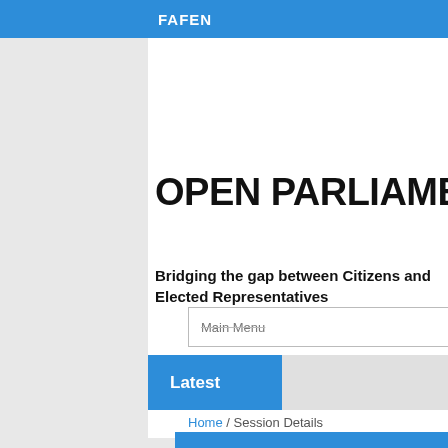FAFEN
OPEN PARLIAMENT
Bridging the gap between Citizens and Elected Representatives
Main Menu
Latest
NA si
Home / Session Details
Session Details